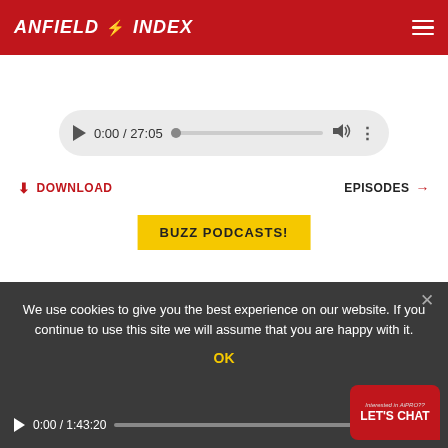ANFIELD INDEX
[Figure (other): Audio player showing 0:00 / 27:05 with play button, progress bar, volume icon and menu]
DOWNLOAD
EPISODES →
BUZZ PODCASTS!
We use cookies to give you the best experience on our website. If you continue to use this site we will assume that you are happy with it.
OK
[Figure (other): Bottom audio player showing 0:00 / 1:43:20 with play button, progress bar, volume icon and menu]
[Figure (other): Chat widget: Interested in AIPRO?? LET'S CHAT]